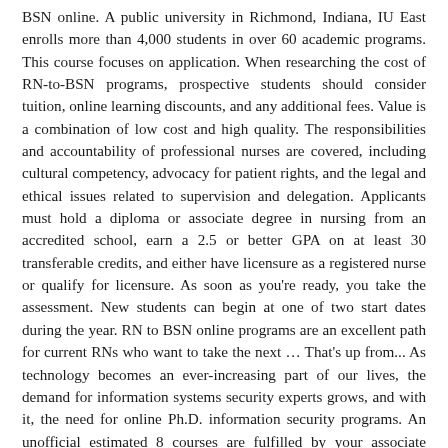BSN online. A public university in Richmond, Indiana, IU East enrolls more than 4,000 students in over 60 academic programs. This course focuses on application. When researching the cost of RN-to-BSN programs, prospective students should consider tuition, online learning discounts, and any additional fees. Value is a combination of low cost and high quality. The responsibilities and accountability of professional nurses are covered, including cultural competency, advocacy for patient rights, and the legal and ethical issues related to supervision and delegation. Applicants must hold a diploma or associate degree in nursing from an accredited school, earn a 2.5 or better GPA on at least 30 transferable credits, and either have licensure as a registered nurse or qualify for licensure. As soon as you're ready, you take the assessment. New students can begin at one of two start dates during the year. RN to BSN online programs are an excellent path for current RNs who want to take the next … That's up from... As technology becomes an ever-increasing part of our lives, the demand for information systems security experts grows, and with it, the need for online Ph.D. information security programs. An unofficial estimated 8 courses are fulfilled by your associate degree leaving 16 courses. What is the deadline for transcript submission? Professional Leadership & Communication in Healthcare requires participation in online group meetings with faculty and fellow students. Their unique education model allows you to go through your RN to BSN degree program much faster than traditional